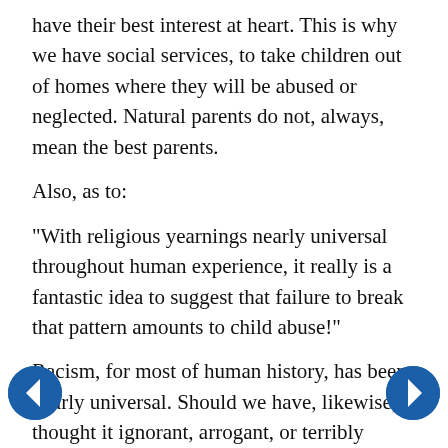have their best interest at heart. This is why we have social services, to take children out of homes where they will be abused or neglected. Natural parents do not, always, mean the best parents.
Also, as to:
"With religious yearnings nearly universal throughout human experience, it really is a fantastic idea to suggest that failure to break that pattern amounts to child abuse!"
Racism, for most of human history, has been nearly universal. Should we have, likewise, thought it ignorant, arrogant, or terribly wrong to try to teach children differently? You yourself have often said on your own blog that religions throughout the world have